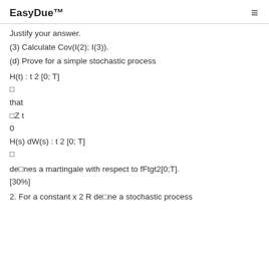EasyDue™
Justify your answer.
(3) Calculate Cov(I(2); I(3)).
(d) Prove for a simple stochastic process
defines a martingale with respect to fFtgt2[0;T]. [30%]
2. For a constant x 2 R define a stochastic process